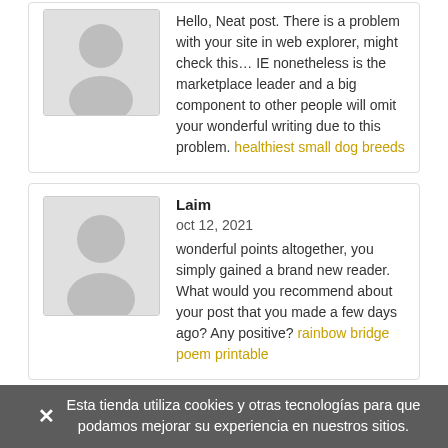Hello, Neat post. There is a problem with your site in web explorer, might check this… IE nonetheless is the marketplace leader and a big component to other people will omit your wonderful writing due to this problem. healthiest small dog breeds
Laim
oct 12, 2021
wonderful points altogether, you simply gained a brand new reader. What would you recommend about your post that you made a few days ago? Any positive? rainbow bridge poem printable
Esta tienda utiliza cookies y otras tecnologías para que podamos mejorar su experiencia en nuestros sitios.